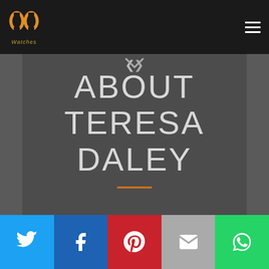[Figure (logo): PP Watches logo with golden double-P symbol and italic 'Watches' text below]
ABOUT TERESA DALEY
[Figure (infographic): Social sharing bar with Twitter, Facebook, Pinterest, Email, and WhatsApp buttons]